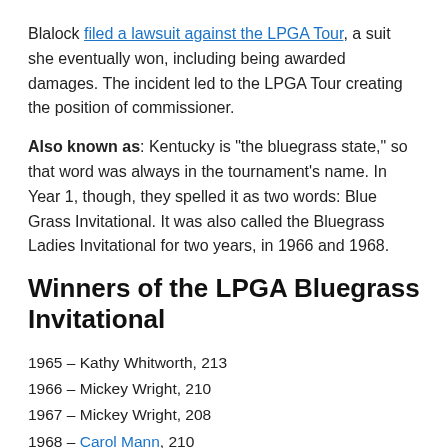Blalock filed a lawsuit against the LPGA Tour, a suit she eventually won, including being awarded damages. The incident led to the LPGA Tour creating the position of commissioner.
Also known as: Kentucky is "the bluegrass state," so that word was always in the tournament's name. In Year 1, though, they spelled it as two words: Blue Grass Invitational. It was also called the Bluegrass Ladies Invitational for two years, in 1966 and 1968.
Winners of the LPGA Bluegrass Invitational
1965 – Kathy Whitworth, 213
1966 – Mickey Wright, 210
1967 – Mickey Wright, 208
1968 – Carol Mann, 210
1969 – Mickey Wright, 216 (def. Betsy Rawls in playoff)